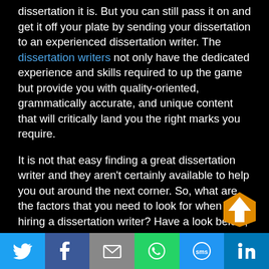dissertation it is. But you can still pass it on and get it off your plate by sending your dissertation to an experienced dissertation writer. The dissertation writers not only have the dedicated experience and skills required to up the game but provide you with quality-oriented, grammatically accurate, and unique content that will critically land you the right marks you require.
It is not that easy finding a great dissertation writer and they aren't certainly available to help you out around the next corner. So, what are the factors that you need to look for when hiring a dissertation writer? Have a look below;
Customized consultations
[Figure (infographic): Orange upward arrow button in bottom right corner]
Social share bar with Twitter, Facebook, Email, WhatsApp, SMS, LinkedIn icons